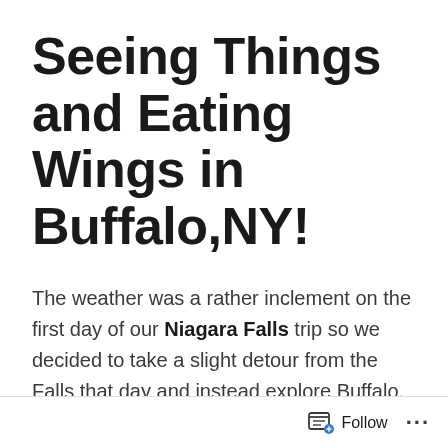Seeing Things and Eating Wings in Buffalo,NY!
The weather was a rather inclement on the first day of our Niagara Falls trip so we decided to take a slight detour from the Falls that day and instead explore Buffalo, NY. for some sights, history, and of course, wings!
First stop: historic Canalside. Once the western…